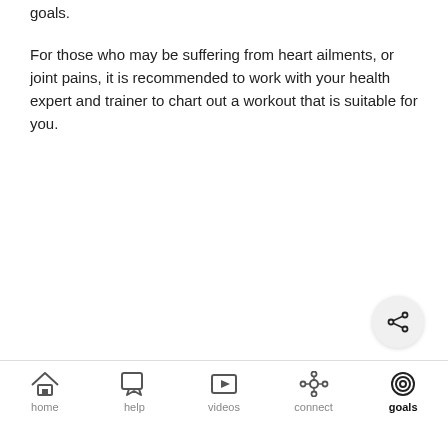goals.
For those who may be suffering from heart ailments, or joint pains, it is recommended to work with your health expert and trainer to chart out a workout that is suitable for you.
[Figure (other): Share icon button — circular light grey button with a share/network icon (three circles connected by lines)]
home | help | videos | connect | goals